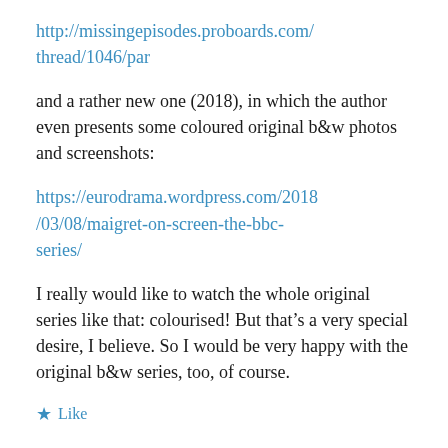http://missingepisodes.proboards.com/thread/1046/par
and a rather new one (2018), in which the author even presents some coloured original b&w photos and screenshots:
https://eurodrama.wordpress.com/2018/03/08/maigret-on-screen-the-bbc-series/
I really would like to watch the whole original series like that: colourised! But that’s a very special desire, I believe. So I would be very happy with the original b&w series, too, of course.
★ Like